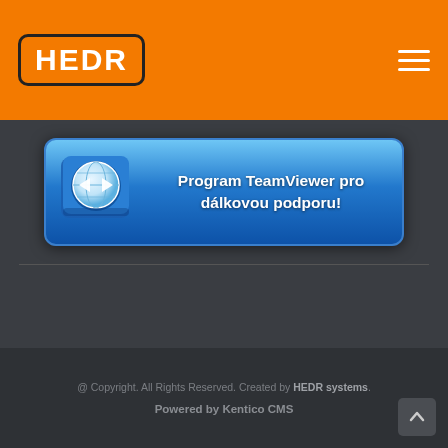HEDR
[Figure (screenshot): TeamViewer banner button with blue gradient background and TeamViewer logo icon on the left, text reading 'Program TeamViewer pro dálkovou podporu!' on the right in white bold text]
@ Copyright. All Rights Reserved. Created by HEDR systems. Powered by Kentico CMS